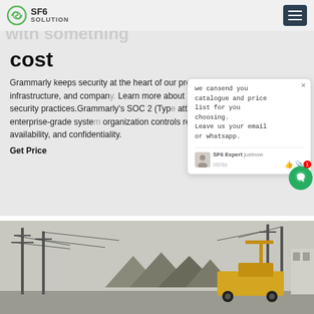SF6 SOLUTION
cost
Grammarly keeps security at the heart of our product, infrastructure, and company. Learn more about our security practices.Grammarly's SOC 2 (Type attests to our enterprise-grade system organization controls regarding availability, and confidentiality.
Get Price
[Figure (screenshot): Chat popup overlay showing message: 'we can send you catalogue and price list for you choosing. Leave us your email or whatsapp.' with SF6 Expert label and justnow timestamp, write input area with thumbs up and paperclip icons]
[Figure (photo): Outdoor scene with power line structures, cable equipment, and a yellow truck/crane vehicle in an industrial or utility yard setting]